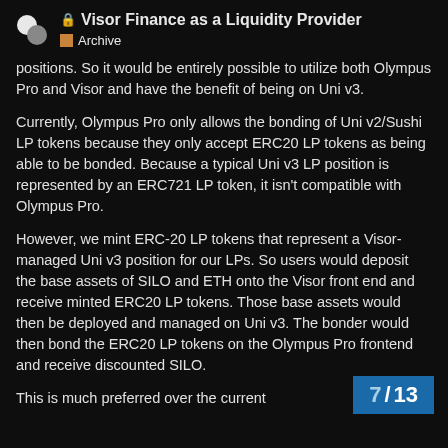🔒 Visor Finance as a Liquidity Provider — Archive
positions. So it would be entirely possible to utilize both Olympus Pro and Visor and have the benefit of being on Uni v3.
Currently, Olympus Pro only allows the bonding of Uni v2/Sushi LP tokens because they only accept ERC20 LP tokens as being able to be bonded. Because a typical Uni v3 LP position is represented by an ERC721 LP token, it isn't compatible with Olympus Pro.
However, we mint ERC-20 LP tokens that represent a Visor-managed Uni v3 position for our LPs. So users would deposit the base assets of SILO and ETH onto the Visor front end and receive minted ERC20 LP tokens. Those base assets would then be deployed and managed on Uni v3. The bonder would then bond the ERC20 LP tokens on the Olympus Pro frontend and receive discounted SILO.
This is much preferred over the current